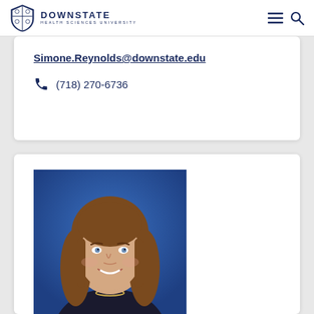DOWNSTATE HEALTH SCIENCES UNIVERSITY
Simone.Reynolds@downstate.edu
(718) 270-6736
[Figure (photo): Professional headshot of a woman with long brown hair, smiling, wearing a dark blazer and necklace, against a blue background.]